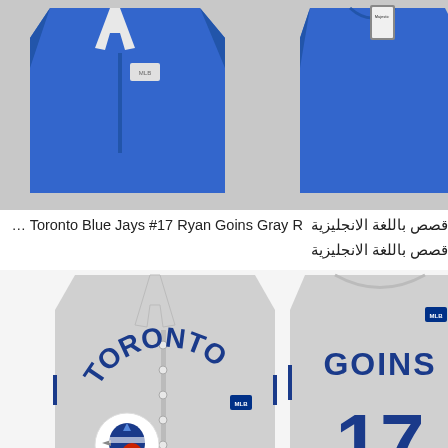[Figure (photo): Blue Toronto Blue Jays baseball jerseys (front and back views) displayed on white background]
قصص باللغة الانجليزية Men's Toronto Blue Jays #17 Ryan Goins Gray R...  قصص باللغة الانجليزية
[Figure (photo): Gray Toronto Blue Jays jersey (front view showing TORONTO logo and Blue Jay patch, and back view showing GOINS #17) on white background]